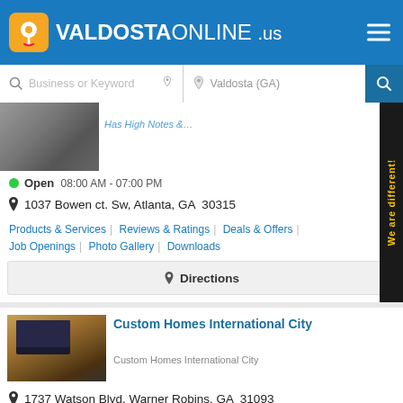[Figure (logo): ValdostaOnline.us logo with orange location pin icon and white text on blue header bar]
[Figure (screenshot): Search bar with 'Business or Keyword' and 'Valdosta (GA)' fields]
[Figure (photo): Partial car/auto photo thumbnail]
Open  08:00 AM - 07:00 PM
1037 Bowen ct. Sw, Atlanta, GA  30315
Products & Services | Reviews & Ratings | Deals & Offers | Job Openings | Photo Gallery | Downloads
Directions
[Figure (photo): Laptop and coffee cup on wooden desk thumbnail]
Custom Homes International City
Custom Homes International City
1737 Watson Blvd, Warner Robins, GA  31093
Our Services | Reviews & Ratings | Deals & Offers | Job Openings | Photo Gallery | Downloads
Directions